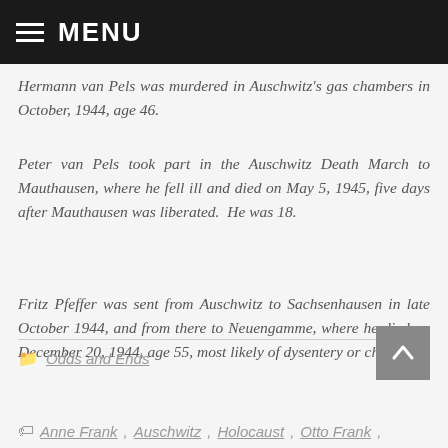MENU
Hermann van Pels was murdered in Auschwitz's gas chambers in October, 1944, age 46.
Peter van Pels took part in the Auschwitz Death March to Mauthausen, where he fell ill and died on May 5, 1945, five days after Mauthausen was liberated.  He was 18.
Fritz Pfeffer was sent from Auschwitz to Sachsenhausen in late October 1944, and from there to Neuengamme, where he died on December 20, 1944, age 55, most likely of dysentery or cholera.
Odds and Ends
Anne Frank, Auschwitz, Holocaust, Otto Frank,